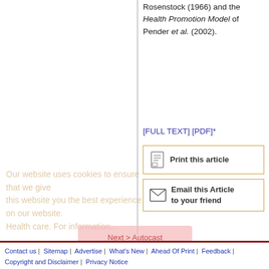Rosenstock (1966) and the Health Promotion Model of Pender et al. (2002).
[FULL TEXT] [PDF]*
[Figure (other): Print this article button]
[Figure (other): Email this Article to your friend button]
Our website uses cookies to ensure that we give this website you the best experience on our website. Health care. For information ...
Contact us | Sitemap | Advertise | What's New | Ahead Of Print | Feedback | Copyright and Disclaimer | Privacy Notice